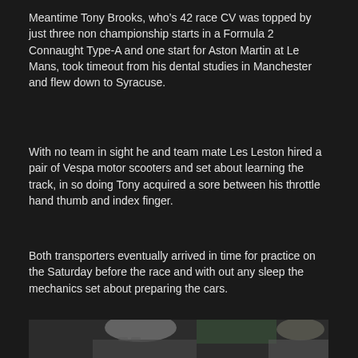Meantime Tony Brooks, who’s 42 race CV was topped by just three non championship starts in a Formula 2 Connaught Type-A and one start for Aston Martin at Le Mans, took timeout from his dental studies in Manchester and flew down to Syracuse.
With no team in sight he and team mate Les Leston hired a pair of Vespa motor scooters and set about learning the track, in so doing Tony acquired a sore between his throttle hand thumb and index finger.
Both transporters eventually arrived in time for practice on the Saturday before the race and with out any sleep the mechanics set about preparing the cars.
[Figure (photo): A photo of an elderly man with white/grey hair wearing glasses, photographed outdoors. Partial view of another person visible on the right edge.]